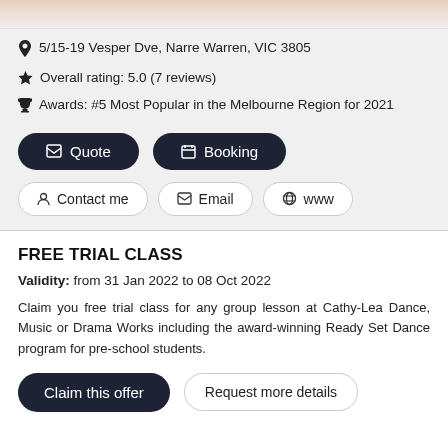[Figure (photo): Partial photo of dancers/people at the top of the card]
5/15-19 Vesper Dve, Narre Warren, VIC 3805
Overall rating: 5.0 (7 reviews)
Awards: #5 Most Popular in the Melbourne Region for 2021
Quote | Booking (buttons)
Contact me | Email | www (buttons)
FREE TRIAL CLASS
Validity: from 31 Jan 2022 to 08 Oct 2022
Claim you free trial class for any group lesson at Cathy-Lea Dance, Music or Drama Works including the award-winning Ready Set Dance program for pre-school students.
Claim this offer | Request more details (buttons)